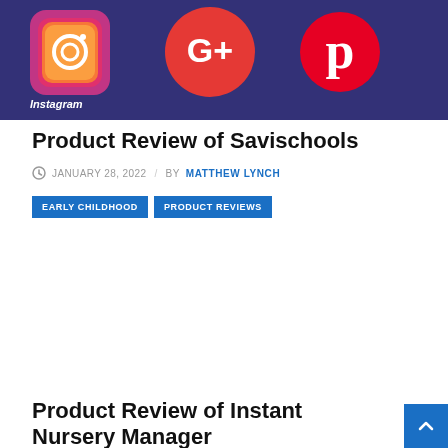[Figure (photo): Social media app icons on a dark purple/blue smartphone screen, showing Instagram, Google+, and Pinterest logos]
Product Review of Savischools
JANUARY 28, 2022 / BY MATTHEW LYNCH
EARLY CHILDHOOD
PRODUCT REVIEWS
Product Review of Instant Nursery Manager